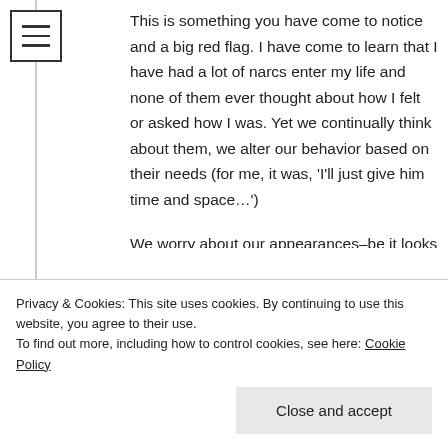[Figure (other): Hamburger menu icon — three horizontal lines inside a square border]
This is something you have come to notice and a big red flag. I have come to learn that I have had a lot of narcs enter my life and none of them ever thought about how I felt or asked how I was. Yet we continually think about them, we alter our behavior based on their needs (for me, it was, 'I'll just give him time and space…')

We worry about our appearances–be it looks or do I appear needy and obsessed? Etc. But never did the narc ever say things to me like
Privacy & Cookies: This site uses cookies. By continuing to use this website, you agree to their use.
To find out more, including how to control cookies, see here: Cookie Policy
Close and accept